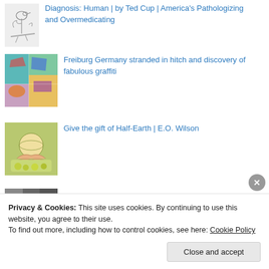Diagnosis: Human | by Ted Cup | America's Pathologizing and Overmedicating
Freiburg Germany stranded in hitch and discovery of fabulous graffiti
Give the gift of Half-Earth | E.O. Wilson
Privacy & Cookies: This site uses cookies. By continuing to use this website, you agree to their use.
To find out more, including how to control cookies, see here: Cookie Policy